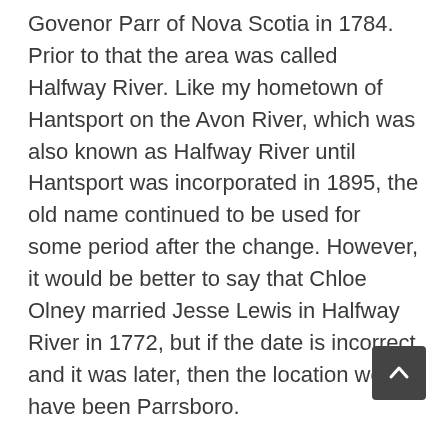Govenor Parr of Nova Scotia in 1784. Prior to that the area was called Halfway River. Like my hometown of Hantsport on the Avon River, which was also known as Halfway River until Hantsport was incorporated in 1895, the old name continued to be used for some period after the change. However, it would be better to say that Chloe Olney married Jesse Lewis in Halfway River in 1772, but if the date is incorrect and it was later, then the location would have been Parrsboro.
In my original query, I was asking for information about Mary Lewis, my g-grandmother. I have recently verified that her middle name was Elizabeth. On her son Nathan Coldwell's death report, his wife Mildred refers to Nathan's mother as Elizabeth Lewis, omitting her first name Mary which is on her death report.
I feel I have made considerable progress on sorting